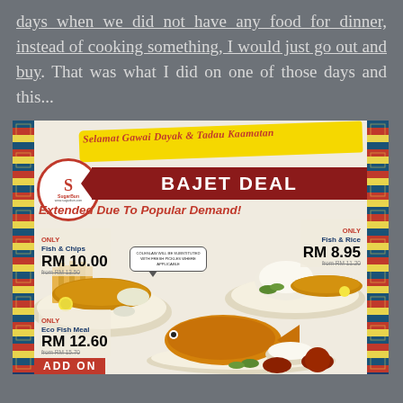days when we did not have any food for dinner, instead of cooking something, I would just go out and buy. That was what I did on one of those days and this...
[Figure (photo): Sugar Bun restaurant advertisement for 'Bajet Deal' extended due to popular demand. Shows three meal deals: Fish & Chips (RM 10.00, from RM 13.50), Fish & Rice (RM 8.95, from RM 11.20), and Eco Fish Meal (RM 12.60, from RM 15.70). Header reads 'Selamat Gawai Dayak & Tadau Kaamatan'. Decorative tribal borders on left and right sides. Photos of food items shown.]